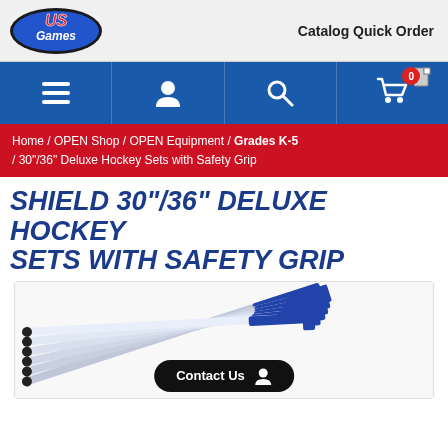[Figure (logo): US Games logo — red and blue oval with 'US Games' text]
Catalog Quick Order
[Figure (screenshot): Blue navigation bar with hamburger menu, user icon, search icon, and shopping cart with badge showing 0]
Home / OPEN Shop / OPEN Equipment / Grades K-5 / 30"/36" Deluxe Hockey Sets with Safety Grip
SHIELD 30"/36" DELUXE HOCKEY SETS WITH SAFETY GRIP
[Figure (photo): Set of 6 hockey sticks with blue and silver coloring fanned out on white background]
Contact Us